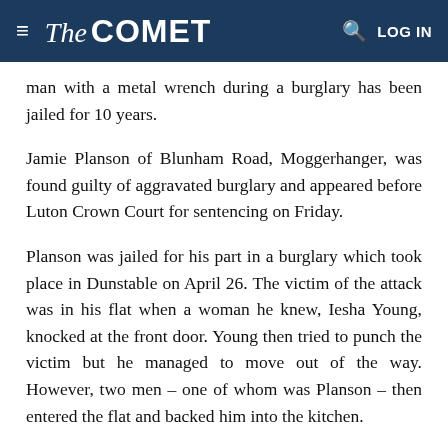≡ The COMET  🔍 LOG IN
man with a metal wrench during a burglary has been jailed for 10 years.
Jamie Planson of Blunham Road, Moggerhanger, was found guilty of aggravated burglary and appeared before Luton Crown Court for sentencing on Friday.
Planson was jailed for his part in a burglary which took place in Dunstable on April 26. The victim of the attack was in his flat when a woman he knew, Iesha Young, knocked at the front door. Young then tried to punch the victim but he managed to move out of the way. However, two men – one of whom was Planson – then entered the flat and backed him into the kitchen.
It was in the kitchen that Planson then attacked the man with the metal wrench, causing serious injuries...